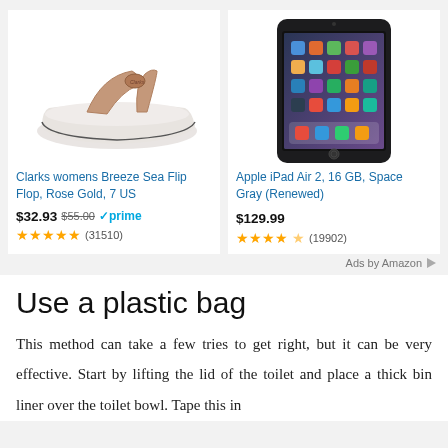[Figure (photo): Clarks womens Breeze Sea Flip Flop in Rose Gold color, product photo on white background]
Clarks womens Breeze Sea Flip Flop, Rose Gold, 7 US
$32.93 $55.00 prime (31510)
[Figure (photo): Apple iPad Air 2 in Space Gray color, product photo on white background]
Apple iPad Air 2, 16 GB, Space Gray (Renewed)
$129.99 (19902)
Ads by Amazon
Use a plastic bag
This method can take a few tries to get right, but it can be very effective. Start by lifting the lid of the toilet and place a thick bin liner over the toilet bowl. Tape this in